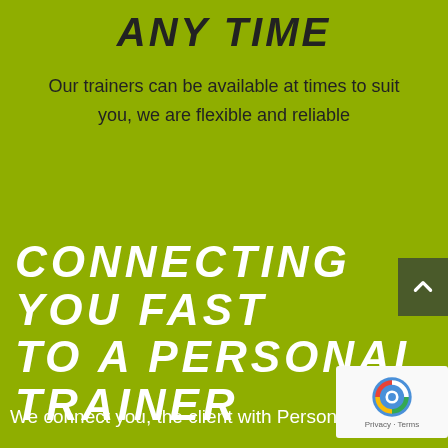ANY TIME
Our trainers can be available at times to suit you, we are flexible and reliable
CONNECTING YOU FAST TO A PERSONAL TRAINER
We connect you, the client with Personal